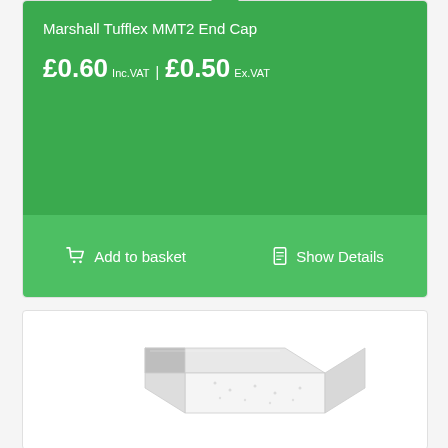Marshall Tufflex MMT2 End Cap
£0.60 Inc.VAT | £0.50 Ex.VAT
Add to basket | Show Details
[Figure (photo): Product photo of a white rectangular cable trunking end cap (Marshall Tufflex MMT2), shown in perspective/isometric view on a white background.]